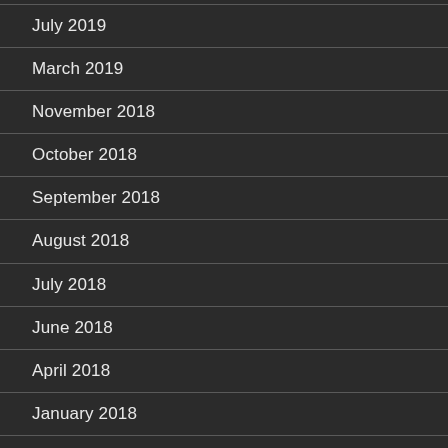July 2019
March 2019
November 2018
October 2018
September 2018
August 2018
July 2018
June 2018
April 2018
January 2018
December 2017